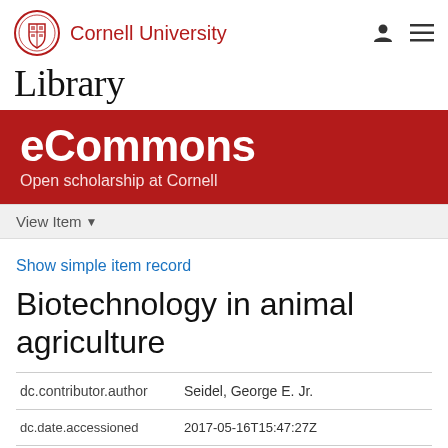Cornell University Library eCommons — Open scholarship at Cornell
View Item
Show simple item record
Biotechnology in animal agriculture
| Field | Value |
| --- | --- |
| dc.contributor.author | Seidel, George E. Jr. |
| dc.date.accessioned | 2017-05-16T15:47:27Z |